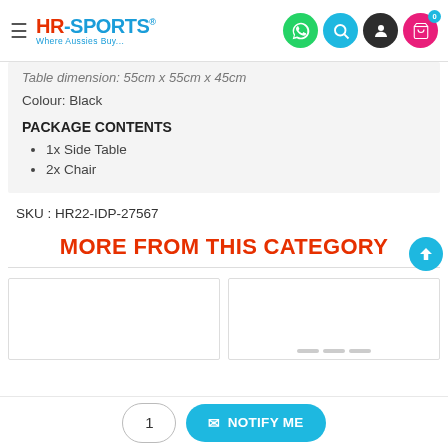[Figure (screenshot): HR-Sports website header with logo, hamburger menu, and navigation icons (WhatsApp, search, account, cart with 0 badge)]
Table dimension: 55cm x 55cm x 45cm
Colour: Black
PACKAGE CONTENTS
1x Side Table
2x Chair
SKU : HR22-IDP-27567
MORE FROM THIS CATEGORY
[Figure (other): Two product card placeholders side by side with a scroll-to-top blue button]
1
✉ NOTIFY ME